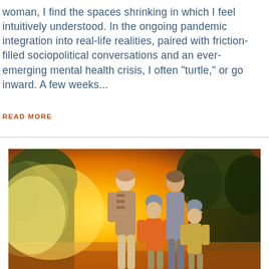woman, I find the spaces shrinking in which I feel intuitively understood. In the ongoing pandemic integration into real-life realities, paired with friction-filled sociopolitical conversations and an ever-emerging mental health crisis, I often "turtle," or go inward. A few weeks...
READ MORE
[Figure (photo): A family of four standing outdoors in a golden backlit sunset scene with trees in the background. An adult woman and a teenage child stand behind two younger children, all wearing warm autumn/winter clothing in orange, grey, and tan tones.]